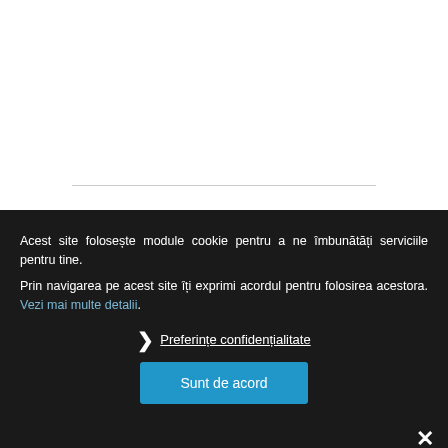[Figure (other): White top area of a webpage with a horizontal divider line]
Acest site folosește module cookie pentru a ne îmbunătăți serviciile pentru tine.
Prin navigarea pe acest site îți exprimi acordul pentru folosirea acestora. Vezi mai multe detalii.
❯ Preferințe confidențialitate
Sunt de acord